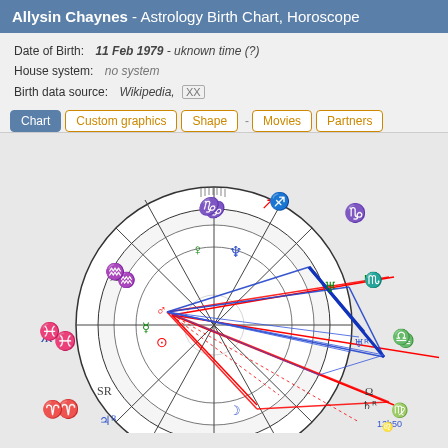Allysin Chaynes - Astrology Birth Chart, Horoscope
Date of Birth: 11 Feb 1979 - uknown time (?)
House system: no system
Birth data source: Wikipedia, (XX)
Chart
Custom graphics
Shape
Movies
Partners
[Figure (other): Astrology birth chart / horoscope wheel showing zodiac signs, planetary symbols, and aspect lines (blue and red) in a circular chart format. Visible zodiac signs include Capricorn, Sagittarius, Aquarius, Scorpio, Libra, Virgo, Aries, Pisces. Planetary symbols include Venus, Neptune, Uranus, Mars, Mercury, Sun, Moon, Saturn, Jupiter, and others. Multiple blue and red aspect lines cross the inner wheel.]